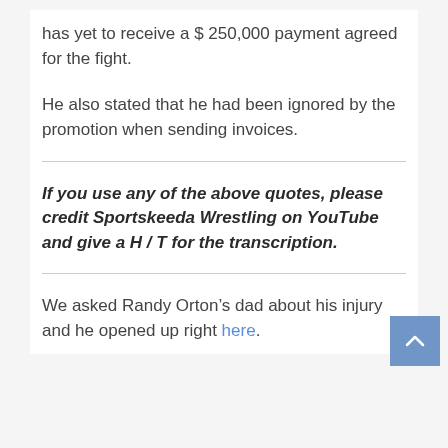has yet to receive a $ 250,000 payment agreed for the fight.
He also stated that he had been ignored by the promotion when sending invoices.
If you use any of the above quotes, please credit Sportskeeda Wrestling on YouTube and give a H / T for the transcription.
We asked Randy Orton’s dad about his injury and he opened up right here.